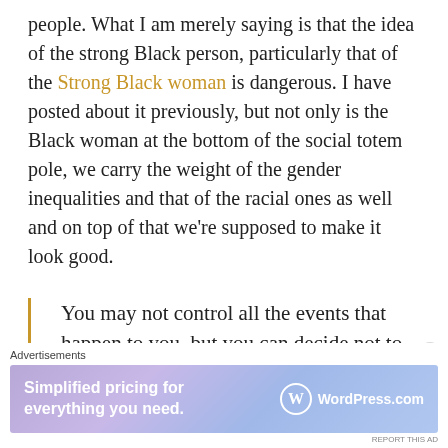people. What I am merely saying is that the idea of the strong Black person, particularly that of the Strong Black woman is dangerous. I have posted about it previously, but not only is the Black woman at the bottom of the social totem pole, we carry the weight of the gender inequalities and that of the racial ones as well and on top of that we're supposed to make it look good.
You may not control all the events that happen to you, but you can decide not to be reduced by them.
[Figure (other): Advertisement banner for WordPress.com: 'Simplified pricing for everything you need.' with WordPress.com logo on a purple/blue gradient background]